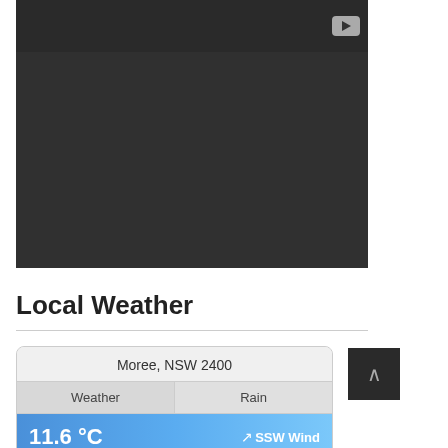[Figure (screenshot): Dark video player area with a play button icon in the top right corner. The player has a dark gray background (#303030) with a slightly darker top bar.]
Local Weather
[Figure (screenshot): Weather widget showing location 'Moree, NSW 2400' with two tabs: 'Weather' and 'Rain'. Below the tabs is a blue gradient bar showing '11.6 °C' and 'SSW Wind' with an arrow icon.]
[Figure (screenshot): Dark scroll-up button with an upward caret arrow (∧) symbol.]